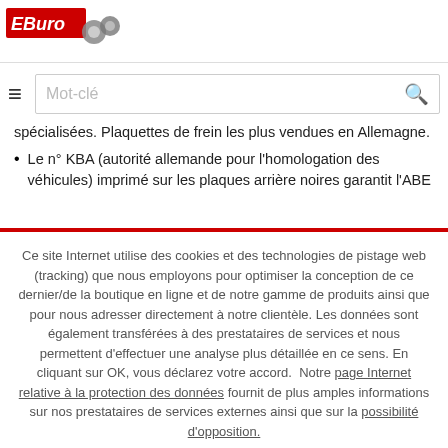EBuro logo and navigation header
[Figure (logo): EBuro automotive parts retailer logo with red text and gear imagery]
Mot-clé (search bar placeholder)
spécialisées. Plaquettes de frein les plus vendues en Allemagne.
Le n° KBA (autorité allemande pour l'homologation des véhicules) imprimé sur les plaques arrière noires garantit l'ABE
Ce site Internet utilise des cookies et des technologies de pistage web (tracking) que nous employons pour optimiser la conception de ce dernier/de la boutique en ligne et de notre gamme de produits ainsi que pour nous adresser directement à notre clientèle. Les données sont également transférées à des prestataires de services et nous permettent d'effectuer une analyse plus détaillée en ce sens. En cliquant sur OK, vous déclarez votre accord. Notre page Internet relative à la protection des données fournit de plus amples informations sur nos prestataires de services externes ainsi que sur la possibilité d'opposition.
PAS D'ACCORD
OK